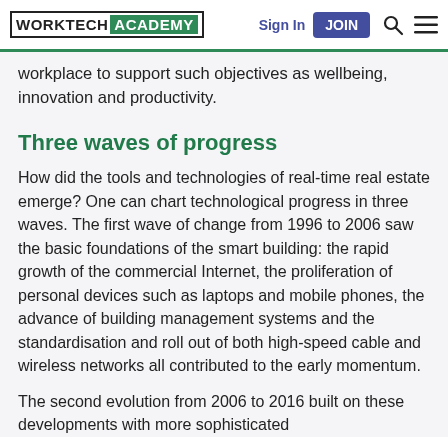WORKTECH ACADEMY | Sign In | JOIN
workplace to support such objectives as wellbeing, innovation and productivity.
Three waves of progress
How did the tools and technologies of real-time real estate emerge? One can chart technological progress in three waves. The first wave of change from 1996 to 2006 saw the basic foundations of the smart building: the rapid growth of the commercial Internet, the proliferation of personal devices such as laptops and mobile phones, the advance of building management systems and the standardisation and roll out of both high-speed cable and wireless networks all contributed to the early momentum.
The second evolution from 2006 to 2016 built on these developments with more sophisticated